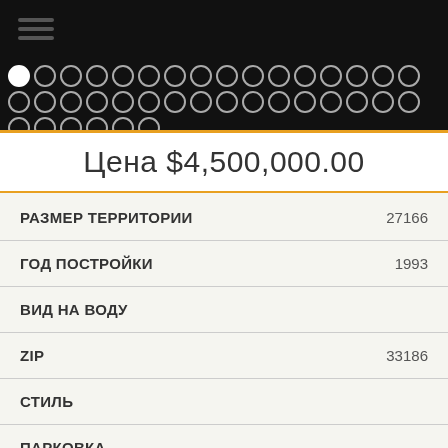[Figure (screenshot): Dark header bar with hamburger menu icon and rows of circular dot indicators, first dot filled white]
Цена $4,500,000.00
| Field | Value |
| --- | --- |
| РАЗМЕР ТЕРРИТОРИИ | 27166 |
| ГОД ПОСТРОЙКИ | 1993 |
| ВИД НА ВОДУ |  |
| ZIP | 33186 |
| СТИЛЬ |  |
| ПАРКОВКА |  |
| БАССЕЙН | YES |
| СТАТУС | ACTIVE |